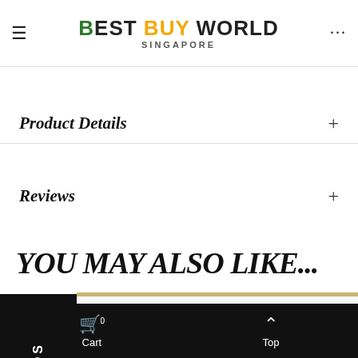Description   BEST BUY WORLD SINGAPORE   ...
Product Details +
Reviews +
YOU MAY ALSO LIKE...
[Figure (photo): Green cosmetic tube product on white background]
[Figure (photo): White/gray cosmetic tube product on white background]
[Figure (logo): WhatsApp green circular button icon]
Cart 0   Top